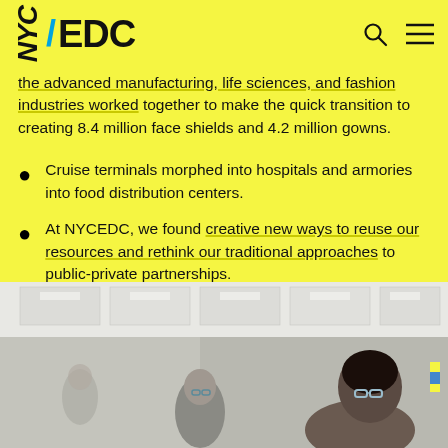NYC EDC
the advanced manufacturing, life sciences, and fashion industries worked together to make the quick transition to creating 8.4 million face shields and 4.2 million gowns.
Cruise terminals morphed into hospitals and armories into food distribution centers.
At NYCEDC, we found creative new ways to reuse our resources and rethink our traditional approaches to public-private partnerships.
[Figure (photo): Interior photo of a facility or lab space with people wearing glasses/safety goggles, white ceiling with panels and lights visible, two or three individuals visible]